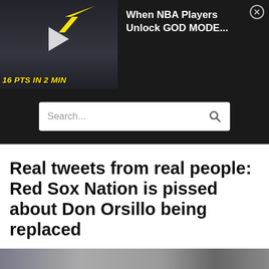[Figure (screenshot): Video thumbnail of NBA basketball players in game action with a yellow arrow pointing to a player. Text overlay reads '16 PTS IN 2 MIN' in yellow italic font. Play button visible in center.]
When NBA Players Unlock GOD MODE...
Search...
Real tweets from real people: Red Sox Nation is pissed about Don Orsillo being replaced
[Figure (photo): Partial image strip at bottom of article area]
HOME   ESPN   FOX   NBC   MORE